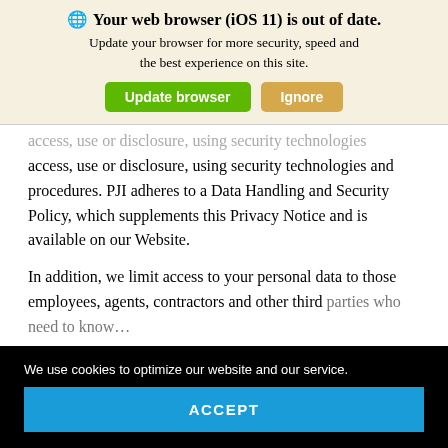Your web browser (iOS 11) is out of date. Update your browser for more security, speed and the best experience on this site. [Update browser] [Ignore]
access, use or disclosure, using security technologies and procedures. PJI adheres to a Data Handling and Security Policy, which supplements this Privacy Notice and is available on our Website.
In addition, we limit access to your personal data to those employees, agents, contractors and other third
We use cookies to optimize our website and our service.
ACCEPT